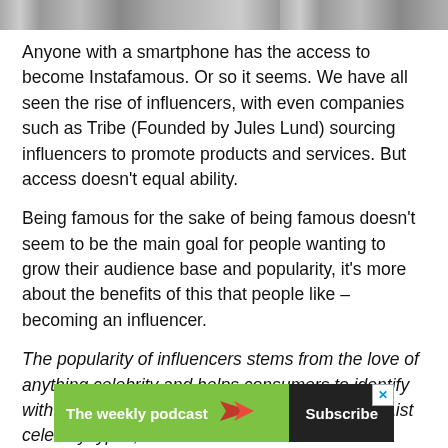[Figure (photo): Cropped photo strip at top of page showing people, partially visible]
Anyone with a smartphone has the access to become Instafamous. Or so it seems. We have all seen the rise of influencers, with even companies such as Tribe (Founded by Jules Lund) sourcing influencers to promote products and services. But access doesn't equal ability.
Being famous for the sake of being famous doesn't seem to be the main goal for people wanting to grow their audience base and popularity, it's more about the benefits of this that people like – becoming an influencer.
The popularity of influencers stems from the love of anything celebrity and helps consumers to identify with more 'normal' people as opposed to the A-List celebrity types, which often feel untouchable. Influencers have the ability to ... er cent of 1
[Figure (other): Advertisement banner: green section with 'The weekly podcast' text and paper plane arrow icon, black section with 'Subscribe' button, close X button in top right corner]